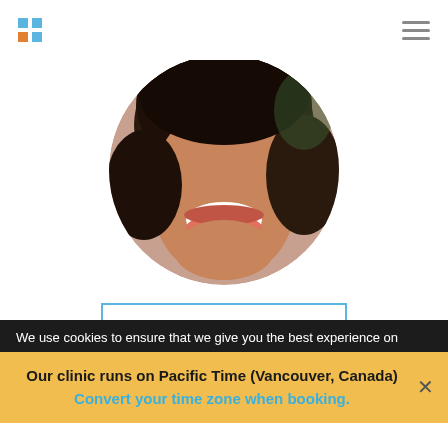[Figure (photo): Circular cropped portrait photo of Julie Chaplin, a woman with dark curly hair, smiling broadly, visible from mouth/chin area upward]
Check Availability
JULIE CHAPLIN
STUDENT THERAPIST
We use cookies to ensure that we give you the best experience on
Our clinic runs on Pacific Time (Vancouver, Canada) Convert your time zone when booking.